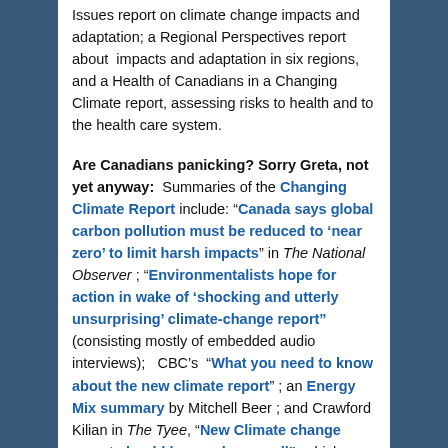Issues report on climate change impacts and adaptation; a Regional Perspectives report about impacts and adaptation in six regions, and a Health of Canadians in a Changing Climate report, assessing risks to health and to the health care system.
Are Canadians panicking? Sorry Greta, not yet anyway: Summaries of the Changing Climate Report include: "Canada says global carbon pollution must be reduced to 'near zero' to limit harsh impacts" in The National Observer ; "Environmentalists hope for action in wake of 'shocking and utterly unsurprising' climate-change report" (consisting mostly of embedded audio interviews); CBC's "What you need to know about the new climate report" ; an Energy Mix summary by Mitchell Beer ; and Crawford Kilian in The Tyee, "New Climate change report should be a wake-up call" which focuses on British Columbia.
Two Opinion Pieces may explain the lack of panic with which this report has been greeted : Thomas Walkom in the Toronto Star, "Canadian politicians are done worrying...